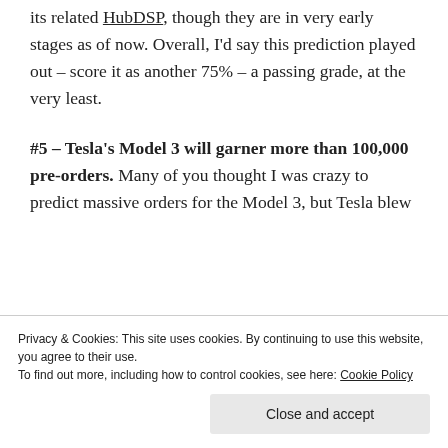We did see the emergence of BitTeaser and its related HubDSP, though they are in very early stages as of now. Overall, I'd say this prediction played out – score it as another 75% – a passing grade, at the very least.
#5 – Tesla's Model 3 will garner more than 100,000 pre-orders. Many of you thought I was crazy to predict massive orders for the Model 3, but Tesla blew
Privacy & Cookies: This site uses cookies. By continuing to use this website, you agree to their use.
To find out more, including how to control cookies, see here: Cookie Policy